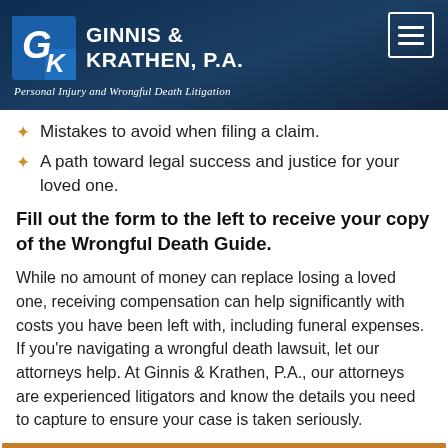Ginnis & Krathen, P.A. — Personal Injury and Wrongful Death Litigation
Mistakes to avoid when filing a claim.
A path toward legal success and justice for your loved one.
Fill out the form to the left to receive your copy of the Wrongful Death Guide.
While no amount of money can replace losing a loved one, receiving compensation can help significantly with costs you have been left with, including funeral expenses. If you're navigating a wrongful death lawsuit, let our attorneys help. At Ginnis & Krathen, P.A., our attorneys are experienced litigators and know the details you need to capture to ensure your case is taken seriously.